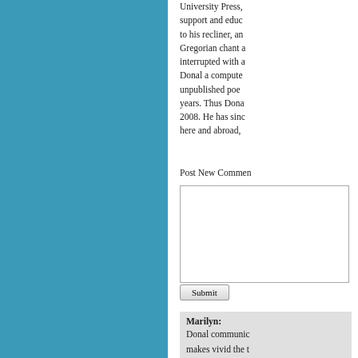[Figure (other): Solid teal/blue colored left panel background]
University Press, support and educ to his recliner, an Gregorian chant a interrupted with a Donal a compute unpublished poe years. Thus Dona 2008. He has sinc here and abroad,
Post New Commen
Submit
Marilyn:
Donal communic makes vivid the t memory.I like his into a book manu